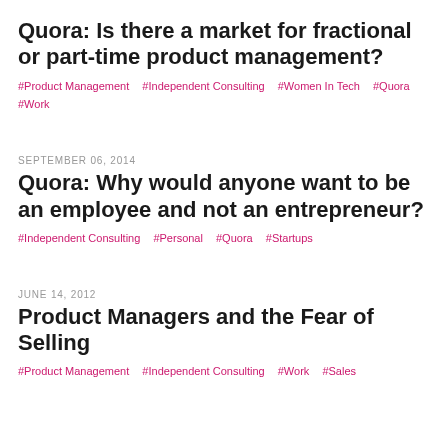Quora: Is there a market for fractional or part-time product management?
#Product Management  #Independent Consulting  #Women In Tech  #Quora  #Work
SEPTEMBER 06, 2014
Quora: Why would anyone want to be an employee and not an entrepreneur?
#Independent Consulting  #Personal  #Quora  #Startups
JUNE 14, 2012
Product Managers and the Fear of Selling
#Product Management  #Independent Consulting  #Work  #Sales